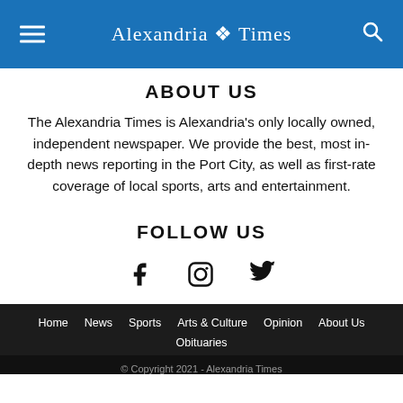Alexandria Times
ABOUT US
The Alexandria Times is Alexandria's only locally owned, independent newspaper. We provide the best, most in-depth news reporting in the Port City, as well as first-rate coverage of local sports, arts and entertainment.
FOLLOW US
[Figure (illustration): Social media icons: Facebook, Instagram, Twitter]
Home  News  Sports  Arts & Culture  Opinion  About Us  Obituaries
© Copyright 2021 - Alexandria Times